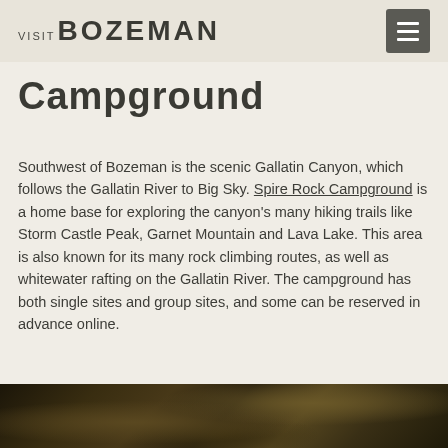VISIT BOZEMAN
Campground
Southwest of Bozeman is the scenic Gallatin Canyon, which follows the Gallatin River to Big Sky. Spire Rock Campground is a home base for exploring the canyon’s many hiking trails like Storm Castle Peak, Garnet Mountain and Lava Lake. This area is also known for its many rock climbing routes, as well as whitewater rafting on the Gallatin River. The campground has both single sites and group sites, and some can be reserved in advance online.
[Figure (photo): Partial view of a rocky, mossy outdoor scene — bottom portion of a campground/nature photo]